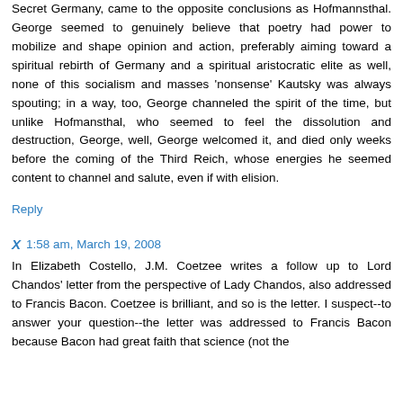Secret Germany, came to the opposite conclusions as Hofmannsthal. George seemed to genuinely believe that poetry had power to mobilize and shape opinion and action, preferably aiming toward a spiritual rebirth of Germany and a spiritual aristocratic elite as well, none of this socialism and masses 'nonsense' Kautsky was always spouting; in a way, too, George channeled the spirit of the time, but unlike Hofmansthal, who seemed to feel the dissolution and destruction, George, well, George welcomed it, and died only weeks before the coming of the Third Reich, whose energies he seemed content to channel and salute, even if with elision.
Reply
X 1:58 am, March 19, 2008
In Elizabeth Costello, J.M. Coetzee writes a follow up to Lord Chandos' letter from the perspective of Lady Chandos, also addressed to Francis Bacon. Coetzee is brilliant, and so is the letter. I suspect--to answer your question--the letter was addressed to Francis Bacon because Bacon had great faith that science (not the